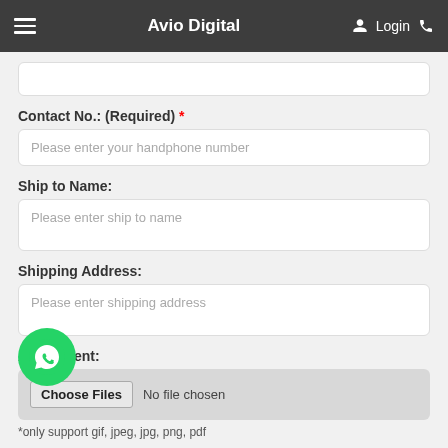Avio Digital — Login
Contact No.: (Required) *
Please enter your handphone number
Ship to Name:
Please enter ship to name
Shipping Address:
Please enter shipping address
Attachment:
Choose Files   No file chosen
*only support gif, jpeg, jpg, png, pdf
Message: (Required) *
Please enter your enquiry